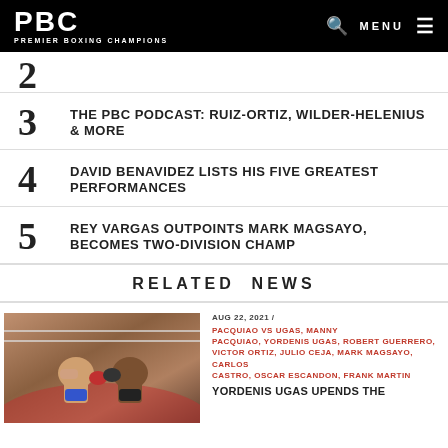PBC PREMIER BOXING CHAMPIONS
2
3 THE PBC PODCAST: RUIZ-ORTIZ, WILDER-HELENIUS & MORE
4 DAVID BENAVIDEZ LISTS HIS FIVE GREATEST PERFORMANCES
5 REY VARGAS OUTPOINTS MARK MAGSAYO, BECOMES TWO-DIVISION CHAMP
RELATED NEWS
AUG 22, 2021 / PACQUIAO VS UGAS, MANNY PACQUIAO, YORDENIS UGAS, ROBERT GUERRERO, VICTOR ORTIZ, JULIO CEJA, MARK MAGSAYO, CARLOS CASTRO, OSCAR ESCANDON, FRANK MARTIN
YORDENIS UGAS UPENDS THE